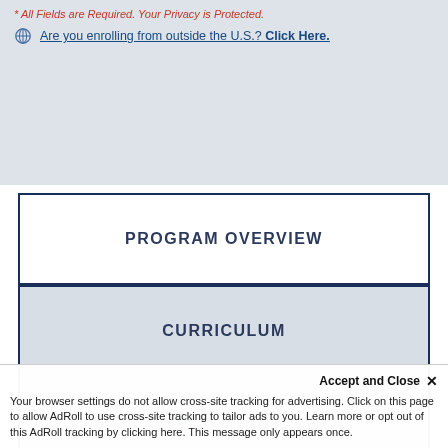* All Fields are Required. Your Privacy is Protected.
Are you enrolling from outside the U.S.? Click Here.
PROGRAM OVERVIEW
CURRICULUM
COURSE LIST
MASTER OF SCIENCE IN ENGINEERING
Accept and Close ✕
Your browser settings do not allow cross-site tracking for advertising. Click on this page to allow AdRoll to use cross-site tracking to tailor ads to you. Learn more or opt out of this AdRoll tracking by clicking here. This message only appears once.